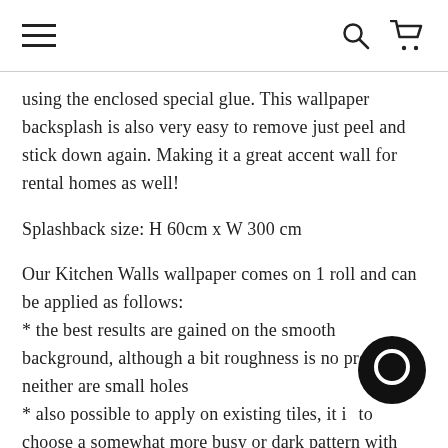Navigation header with hamburger menu, search icon, and cart icon
using the enclosed special glue. This wallpaper backsplash is also very easy to remove just peel and stick down again. Making it a great accent wall for rental homes as well!
Splashback size: H 60cm x W 300 cm
Our Kitchen Walls wallpaper comes on 1 roll and can be applied as follows:
* the best results are gained on the smooth background, although a bit roughness is no problem, neither are small holes
* also possible to apply on existing tiles, it is to choose a somewhat more busy or dark pattern with somewhat a little above the grout of the tile